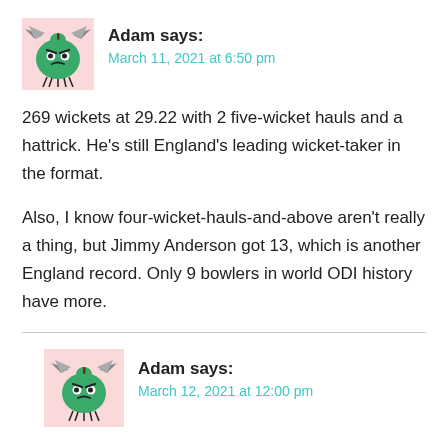[Figure (illustration): Green cartoon apple character with bat wings and grumpy face on pink background, avatar for user Adam]
Adam says:
March 11, 2021 at 6:50 pm
269 wickets at 29.22 with 2 five-wicket hauls and a hattrick. He’s still England’s leading wicket-taker in the format.
Also, I know four-wicket-hauls-and-above aren’t really a thing, but Jimmy Anderson got 13, which is another England record. Only 9 bowlers in world ODI history have more.
[Figure (illustration): Green cartoon apple character with bat wings and grumpy face on pink background, avatar for user Adam]
Adam says:
March 12, 2021 at 12:00 pm